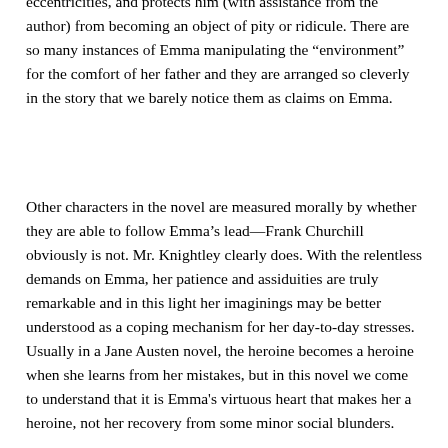eccentricities, and protects him (with assistance from the author) from becoming an object of pity or ridicule. There are so many instances of Emma manipulating the “environment” for the comfort of her father and they are arranged so cleverly in the story that we barely notice them as claims on Emma.
Other characters in the novel are measured morally by whether they are able to follow Emma’s lead—Frank Churchill obviously is not. Mr. Knightley clearly does. With the relentless demands on Emma, her patience and assiduities are truly remarkable and in this light her imaginings may be better understood as a coping mechanism for her day-to-day stresses. Usually in a Jane Austen novel, the heroine becomes a heroine when she learns from her mistakes, but in this novel we come to understand that it is Emma's virtuous heart that makes her a heroine, not her recovery from some minor social blunders.